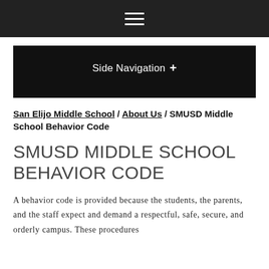☰ (hamburger menu icon)
Side Navigation +
San Elijo Middle School / About Us / SMUSD Middle School Behavior Code
SMUSD MIDDLE SCHOOL BEHAVIOR CODE
A behavior code is provided because the students, the parents, and the staff expect and demand a respectful, safe, secure, and orderly campus. These procedures